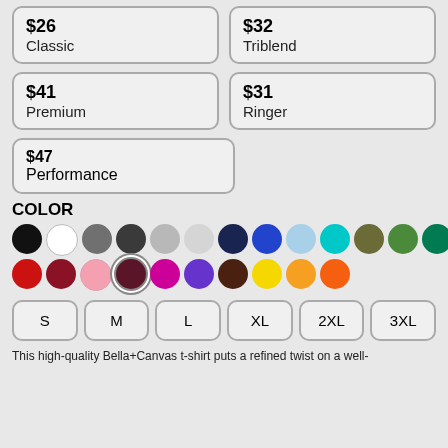$26 Classic
$32 Triblend
$41 Premium
$31 Ringer
$47 Performance
COLOR
[Figure (other): Color swatches: black, white, gray, dark gray, light gray, lighter gray, navy, blue, light blue, teal/cyan, olive, green, dark green; red, dark red, pink, dark brown (selected), magenta, purple, brown, yellow, orange, orange-red]
[Figure (other): Size selector buttons: S, M, L, XL, 2XL, 3XL]
This high-quality Bella+Canvas t-shirt puts a refined twist on a well-